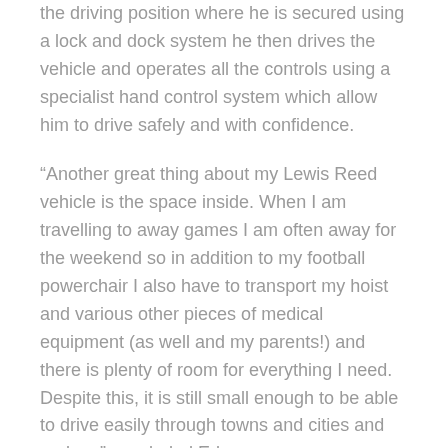the driving position where he is secured using a lock and dock system he then drives the vehicle and operates all the controls using a specialist hand control system which allow him to drive safely and with confidence.
“Another great thing about my Lewis Reed vehicle is the space inside. When I am travelling to away games I am often away for the weekend so in addition to my football powerchair I also have to transport my hoist and various other pieces of medical equipment (as well and my parents!) and there is plenty of room for everything I need. Despite this, it is still small enough to be able to drive easily through towns and cities and park up” concluded Ed.
Ed’s VW Shuttle SE is equipped with four seating options and a host of features as